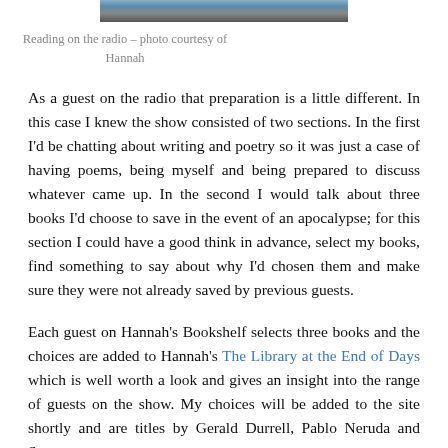[Figure (photo): Partial image of a person reading on the radio, cropped at top of page]
Reading on the radio – photo courtesy of Hannah
As a guest on the radio that preparation is a little different. In this case I knew the show consisted of two sections. In the first I'd be chatting about writing and poetry so it was just a case of having poems, being myself and being prepared to discuss whatever came up. In the second I would talk about three books I'd choose to save in the event of an apocalypse; for this section I could have a good think in advance, select my books, find something to say about why I'd chosen them and make sure they were not already saved by previous guests.
Each guest on Hannah's Bookshelf selects three books and the choices are added to Hannah's The Library at the End of Days which is well worth a look and gives an insight into the range of guests on the show. My choices will be added to the site shortly and are titles by Gerald Durrell, Pablo Neruda and Seamus